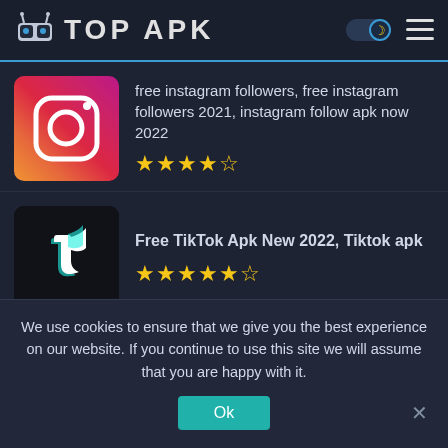TOP APK
[Figure (screenshot): App listing for free instagram followers, free instagram followers 2021, instagram follow apk now 2022 with 4.5 star rating and Instagram logo icon]
[Figure (screenshot): App listing for Free TikTok Apk New 2022, Tiktok apk with 4.5 star rating and TikTok logo icon]
© 2021 - All rights reserved - Apk Mod Download
We use cookies to ensure that we give you the best experience on our website. If you continue to use this site we will assume that you are happy with it.